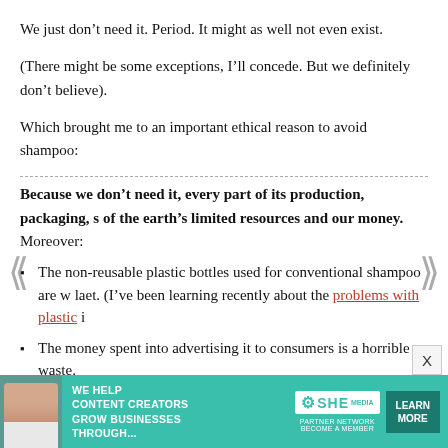We just don’t need it. Period. It might as well not even exist.
(There might be some exceptions, I’ll concede. But we definitely don’t believe).
Which brought me to an important ethical reason to avoid shampoo:
Because we don’t need it, every part of its production, packaging, s of the earth’s limited resources and our money. Moreover:
The non-reusable plastic bottles used for conventional shampoo are w la et. (I’ve been learning recently about the problems with plastic i
The money spent into advertising it to consumers is a horrible waste.
If the chemicals in shampoo are harmful to our bodies, I can only im we extract them from the earth is harmful to our environment.
So what’s the alternative?
[Figure (infographic): Advertisement banner for SHE Media Partner Network with teal background, woman photo, text 'We Help Content Creators Grow Businesses Through...', SHE Partner Network logo, and Learn More button]